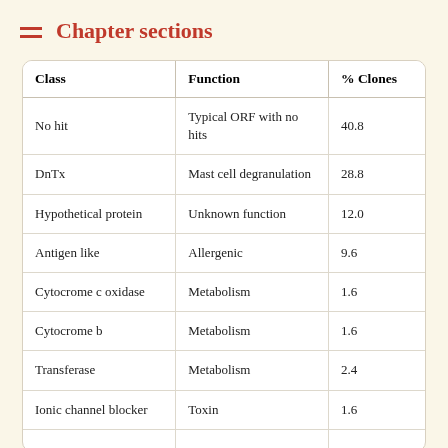Chapter sections
| Class | Function | % Clones |
| --- | --- | --- |
| No hit | Typical ORF with no hits | 40.8 |
| DnTx | Mast cell degranulation | 28.8 |
| Hypothetical protein | Unknown function | 12.0 |
| Antigen like | Allergenic | 9.6 |
| Cytocrome c oxidase | Metabolism | 1.6 |
| Cytocrome b | Metabolism | 1.6 |
| Transferase | Metabolism | 2.4 |
| Ionic channel blocker | Toxin | 1.6 |